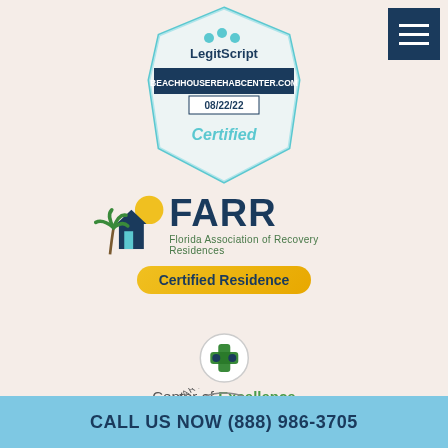[Figure (logo): LegitScript Certified badge for beachhouserehabcenter.com dated 08/22/22]
[Figure (logo): FARR Florida Association of Recovery Residences Certified Residence logo with palm tree and house icon]
[Figure (logo): Center of Excellence Behavioral Health circular logo with cross symbol]
[Figure (logo): Florida Department partial circular logo (cropped at bottom)]
CALL US NOW (888) 986-3705